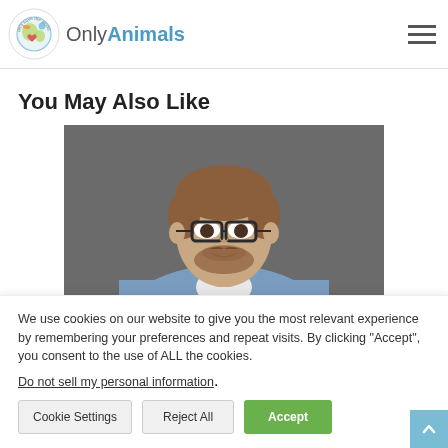OnlyAnimals
You May Also Like
[Figure (photo): Man with glasses and beard wearing a denim shirt, smiling slightly, on a dark gray background]
We use cookies on our website to give you the most relevant experience by remembering your preferences and repeat visits. By clicking “Accept”, you consent to the use of ALL the cookies.
Do not sell my personal information.